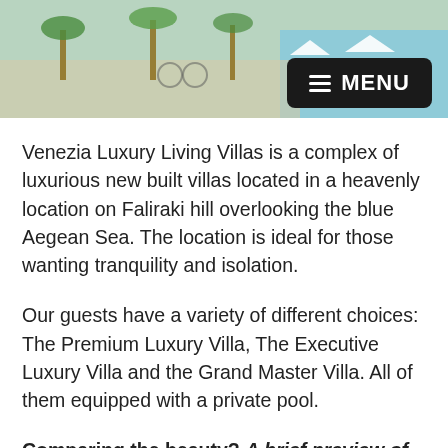[Figure (photo): Aerial/overhead view of luxury villa complex with palm trees and pool area, in warm sunny colors]
Venezia Luxury Living Villas is a complex of luxurious new built villas located in a heavenly location on Faliraki hill overlooking the blue Aegean Sea. The location is ideal for those wanting tranquility and isolation.
Our guests have a variety of different choices: The Premium Luxury Villa, The Executive Luxury Villa and the Grand Master Villa. All of them equipped with a private pool.
Comparing the beauty? A brief preview of Premium and Executive Villa Premium Luxury Villa is 80m2 with a Private pool, a master bedroom and a second one with two bunk beds and 1 shared bathroom. A fully equipped kitchen with all the appliances is there and a large, comfortable sofa is there for your rest. Also a dining area suitable for up to 4 people is there indoors.